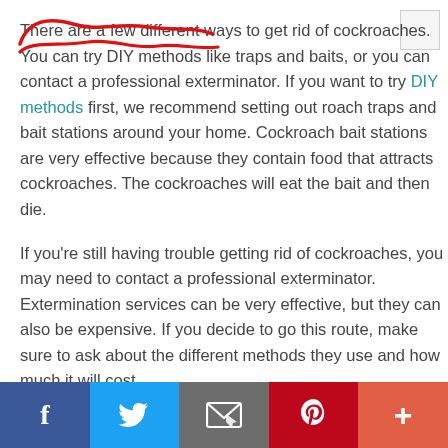There are a few different ways to get rid of cockroaches. You can try DIY methods like traps and baits, or you can contact a professional exterminator. If you want to try DIY methods first, we recommend setting out roach traps and bait stations around your home. Cockroach bait stations are very effective because they contain food that attracts cockroaches. The cockroaches will eat the bait and then die.
If you're still having trouble getting rid of cockroaches, you may need to contact a professional exterminator. Extermination services can be very effective, but they can also be expensive. If you decide to go this route, make sure to ask about the different methods they use and how much it will cost.